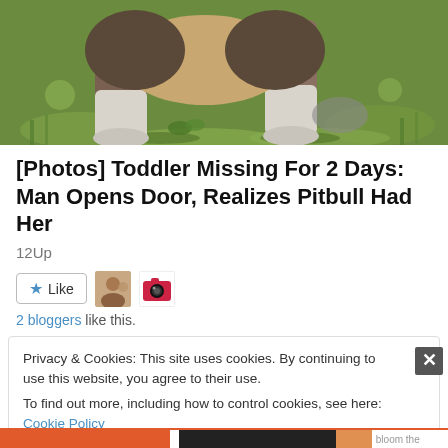[Figure (photo): Close-up photo of a dog (pitbull) standing on grass, showing its legs and lower body from below]
[Photos] Toddler Missing For 2 Days: Man Opens Door, Realizes Pitbull Had Her
12Up
[Figure (illustration): Like button with star icon, and two blogger avatar thumbnails (a person and a camera icon)]
2 bloggers like this.
Privacy & Cookies: This site uses cookies. By continuing to use this website, you agree to their use.
To find out more, including how to control cookies, see here: Cookie Policy
Close and accept